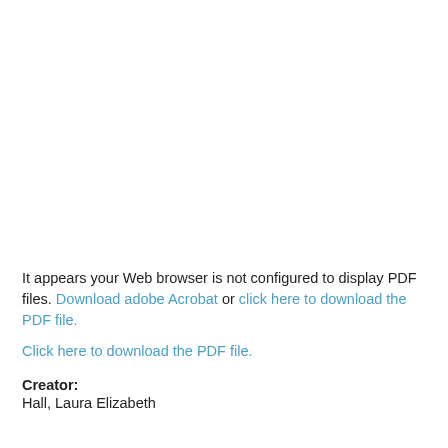It appears your Web browser is not configured to display PDF files. Download adobe Acrobat or click here to download the PDF file.
Click here to download the PDF file.
Creator: Hall, Laura Elizabeth